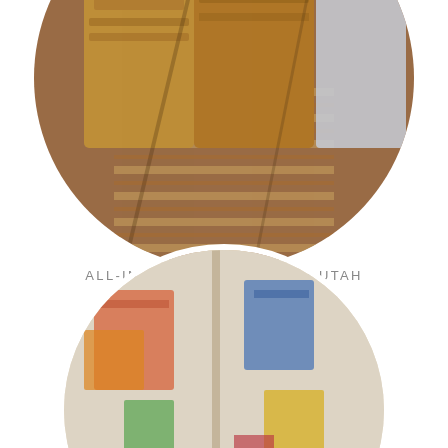[Figure (photo): Circular cropped photo of brown paper grocery bags filled with items, sitting on an orange/tan striped rug or surface]
ALL-IN-ONE ROOM PURGE | UTAH
READ MORE >
[Figure (photo): Circular cropped photo showing a room corner with colorful items, partially visible]